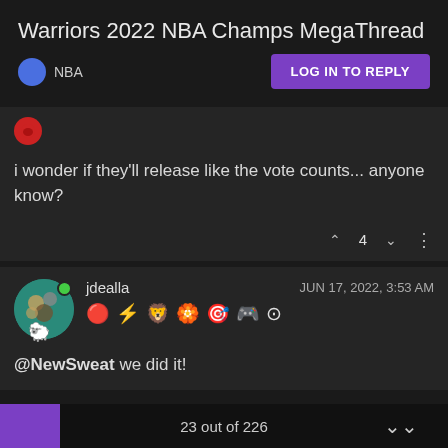Warriors 2022 NBA Champs MegaThread
NBA
LOG IN TO REPLY
i wonder if they'll release like the vote counts... anyone know?
4
jdealla   JUN 17, 2022, 3:53 AM
@NewSweat we did it!
23 out of 226